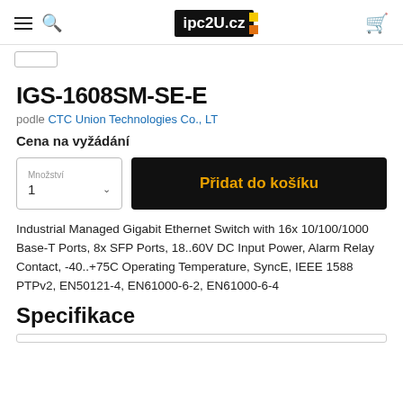ipc2U.cz — navigation header with hamburger menu, search, logo, and cart icon
IGS-1608SM-SE-E
podle CTC Union Technologies Co., LT
Cena na vyžádání
Množství 1 | Přidat do košíku
Industrial Managed Gigabit Ethernet Switch with 16x 10/100/1000 Base-T Ports, 8x SFP Ports, 18..60V DC Input Power, Alarm Relay Contact, -40..+75C Operating Temperature, SyncE, IEEE 1588 PTPv2, EN50121-4, EN61000-6-2, EN61000-6-4
Specifikace